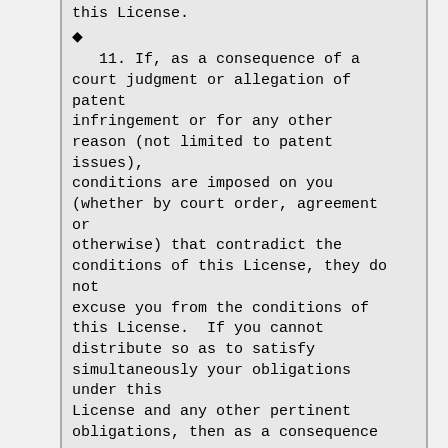this License.
◆
11. If, as a consequence of a court judgment or allegation of patent infringement or for any other reason (not limited to patent issues), conditions are imposed on you (whether by court order, agreement or otherwise) that contradict the conditions of this License, they do not excuse you from the conditions of this License.  If you cannot distribute so as to satisfy simultaneously your obligations under this License and any other pertinent obligations, then as a consequence